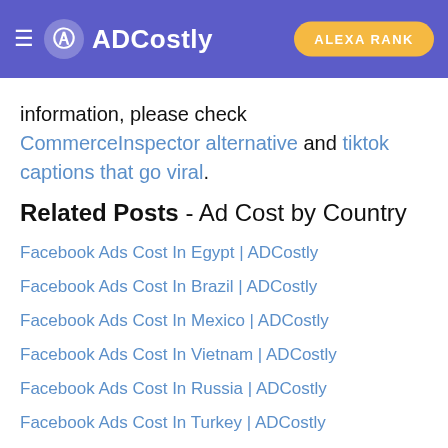ADCostly | ALEXA RANK
information, please check CommerceInspector alternative and tiktok captions that go viral.
Related Posts - Ad Cost by Country
Facebook Ads Cost In Egypt | ADCostly
Facebook Ads Cost In Brazil | ADCostly
Facebook Ads Cost In Mexico | ADCostly
Facebook Ads Cost In Vietnam | ADCostly
Facebook Ads Cost In Russia | ADCostly
Facebook Ads Cost In Turkey | ADCostly